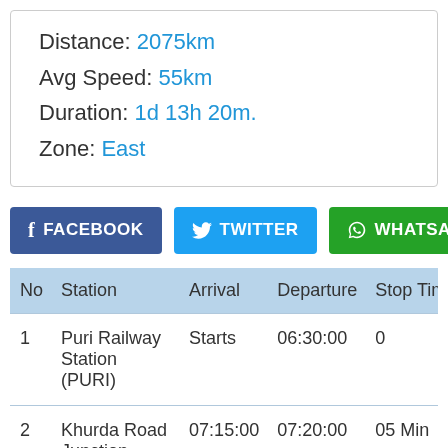Distance: 2075km
Avg Speed: 55km
Duration: 1d 13h 20m.
Zone: East
FACEBOOK  TWITTER  WHATSAPP
| No | Station | Arrival | Departure | Stop Time (M |
| --- | --- | --- | --- | --- |
| 1 | Puri Railway Station (PURI) | Starts | 06:30:00 | 0 |
| 2 | Khurda Road Junction (KUR) | 07:15:00 | 07:20:00 | 05 Min |
| 3 | Bhubaneswar Railway | 07:50:00 | 07:55:00 | 05 Min |